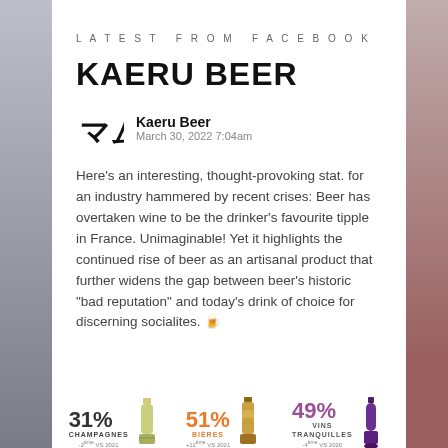LATEST FROM FACEBOOK
KAERU BEER
Kaeru Beer
March 30, 2022 7:04am
Here's an interesting, thought-provoking stat. for an industry hammered by recent crises: Beer has overtaken wine to be the drinker's favourite tipple in France. Unimaginable! Yet it highlights the continued rise of beer as an artisanal product that further widens the gap between beer's historic "bad reputation" and today's drink of choice for discerning socialites. 🍺
[Figure (infographic): Bottom statistics showing three categories: 31% Champagnes -2nd vs 2021, 51% Bières +12ème vs 2021, 49% Vins Tranquilles -4ème vs 2020, with respective bottle illustrations]